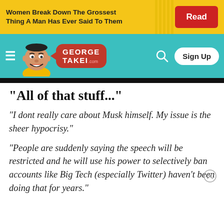Women Break Down The Grossest Thing A Man Has Ever Said To Them
[Figure (screenshot): George Takei .com website navigation bar with cartoon caricature of George Takei, red speech bubble logo, teal background, hamburger menu, search icon, and Sign Up button]
"All of that stuff..."
"I dont really care about Musk himself. My issue is the sheer hypocrisy."
"People are suddenly saying the speech will be restricted and he will use his power to selectively ban accounts like Big Tech (especially Twitter) haven't been doing that for years."